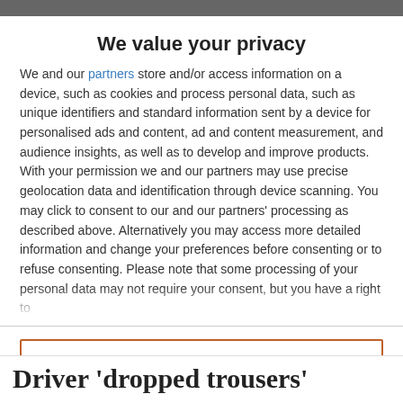We value your privacy
We and our partners store and/or access information on a device, such as cookies and process personal data, such as unique identifiers and standard information sent by a device for personalised ads and content, ad and content measurement, and audience insights, as well as to develop and improve products. With your permission we and our partners may use precise geolocation data and identification through device scanning. You may click to consent to our and our partners' processing as described above. Alternatively you may access more detailed information and change your preferences before consenting or to refuse consenting. Please note that some processing of your personal data may not require your consent, but you have a right to
ACCEPT
MORE OPTIONS
Driver 'dropped trousers'